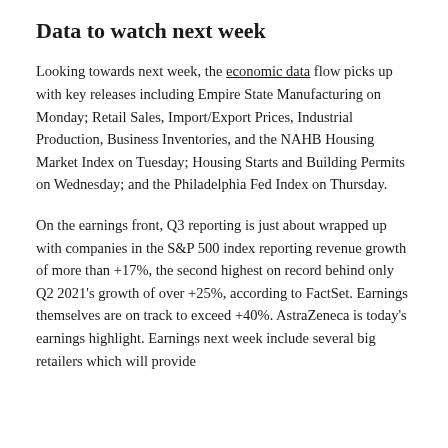Data to watch next week
Looking towards next week, the economic data flow picks up with key releases including Empire State Manufacturing on Monday; Retail Sales, Import/Export Prices, Industrial Production, Business Inventories, and the NAHB Housing Market Index on Tuesday; Housing Starts and Building Permits on Wednesday; and the Philadelphia Fed Index on Thursday.
On the earnings front, Q3 reporting is just about wrapped up with companies in the S&P 500 index reporting revenue growth of more than +17%, the second highest on record behind only Q2 2021's growth of over +25%, according to FactSet. Earnings themselves are on track to exceed +40%. AstraZeneca is today's earnings highlight. Earnings next week include several big retailers which will provide